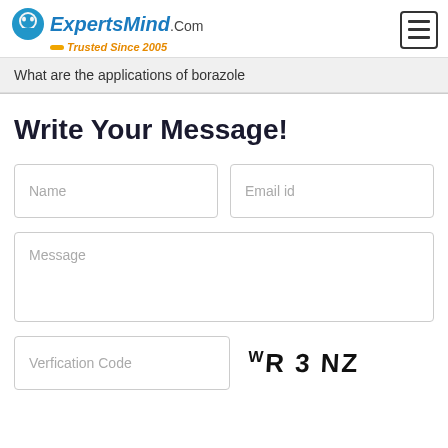[Figure (logo): ExpertsMind.Com Trusted Since 2005 logo with brain icon and hamburger menu button]
What are the applications of borazole
Write Your Message!
Name
Email id
Message
Verfication Code
[Figure (other): CAPTCHA image showing text: WR3NZ]